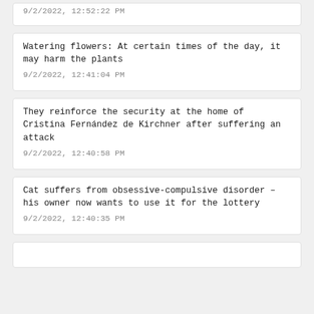9/2/2022, 12:52:22 PM
Watering flowers: At certain times of the day, it may harm the plants
9/2/2022, 12:41:04 PM
They reinforce the security at the home of Cristina Fernández de Kirchner after suffering an attack
9/2/2022, 12:40:58 PM
Cat suffers from obsessive-compulsive disorder – his owner now wants to use it for the lottery
9/2/2022, 12:40:35 PM